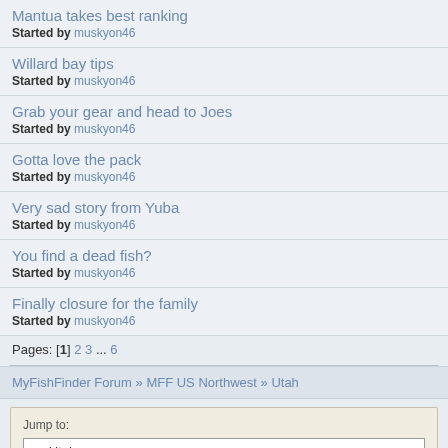Mantua takes best ranking
Started by muskyon46
Willard bay tips
Started by muskyon46
Grab your gear and head to Joes
Started by muskyon46
Gotta love the pack
Started by muskyon46
Very sad story from Yuba
Started by muskyon46
You find a dead fish?
Started by muskyon46
Finally closure for the family
Started by muskyon46
Pages: [1] 2 3 ... 6
MyFishFinder Forum » MFF US Northwest » Utah
Jump to:
=> Utah
Go!